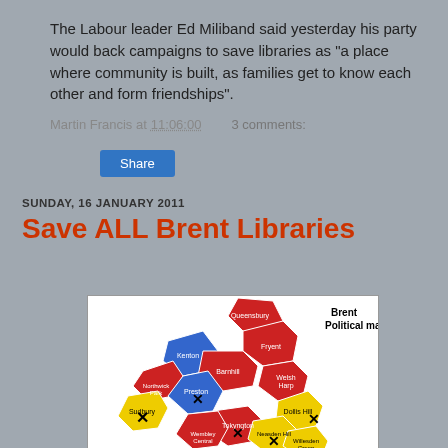The Labour leader Ed Miliband said yesterday his party would back campaigns to save libraries as "a place where community is built, as families get to know each other and form friendships".
Martin Francis at 11:06:00   3 comments:
Share
SUNDAY, 16 JANUARY 2011
Save ALL Brent Libraries
[Figure (map): Brent Political map showing wards colored in red, blue, and yellow. Wards labeled include Queensbury, Kenton, Fryent, Barnhill, Welsh Harp, Northwick Park, Preston, Dollis Hill, Sudbury, Tokyngton, Wembley Central, Neasden Hill, Willesden Green. Several wards are marked with an X symbol.]